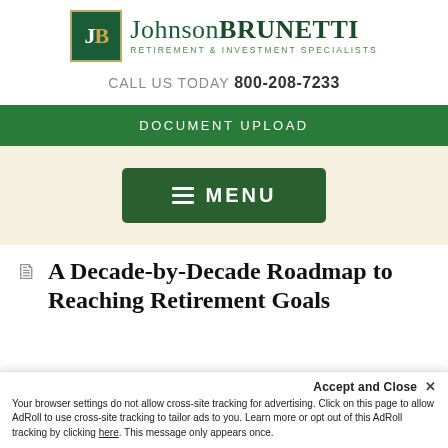[Figure (logo): Johnson Brunetti logo — green square with JB monogram in gold/white, beside serif text 'JohnsonBrunetti' in green, with tagline 'RETIREMENT & INVESTMENT SPECIALISTS']
CALL US TODAY 800-208-7233
DOCUMENT UPLOAD
☰ MENU
A Decade-by-Decade Roadmap to Reaching Retirement Goals
Accept and Close ✕
Your browser settings do not allow cross-site tracking for advertising. Click on this page to allow AdRoll to use cross-site tracking to tailor ads to you. Learn more or opt out of this AdRoll tracking by clicking here. This message only appears once.